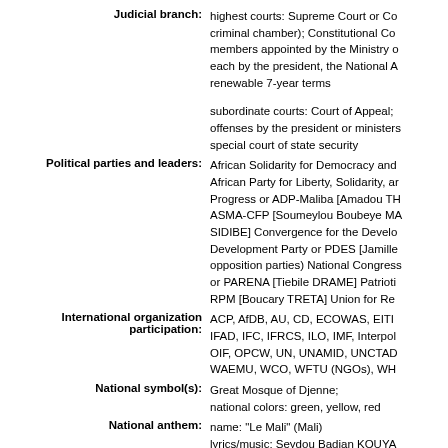Judicial branch: highest courts: Supreme Court or Co criminal chamber); Constitutional Co members appointed by the Ministry o each by the president, the National A renewable 7-year terms

subordinate courts: Court of Appeal; offenses by the president or ministers special court of state security
Political parties and leaders: African Solidarity for Democracy and African Party for Liberty, Solidarity, a Progress or ADP-Maliba [Amadou TH ASMA-CFP [Soumeylou Boubeye MA SIDIBE] Convergence for the Develo Development Party or PDES [Jamille opposition parties) National Congress or PARENA [Tiebile DRAME] Patrioti RPM [Boucary TRETA] Union for Re
International organization participation: ACP, AfDB, AU, CD, ECOWAS, EITI IFAD, IFC, IFRCS, ILO, IMF, Interpol OIF, OPCW, UN, UNAMID, UNCTAD WAEMU, WCO, WFTU (NGOs), WH
National symbol(s): Great Mosque of Djenne; national colors: green, yellow, red
National anthem: name: "Le Mali" (Mali)
lyrics/music: Seydou Badian KOUYA

note: adopted 1962; also known as " Mali" (At Your Call, Mali)